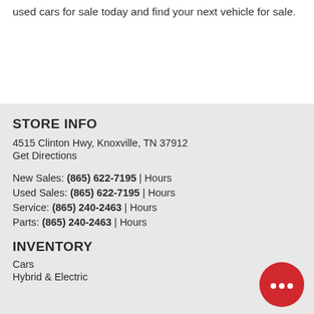used cars for sale today and find your next vehicle for sale.
STORE INFO
4515 Clinton Hwy, Knoxville, TN 37912
Get Directions
New Sales: (865) 622-7195 | Hours
Used Sales: (865) 622-7195 | Hours
Service: (865) 240-2463 | Hours
Parts: (865) 240-2463 | Hours
INVENTORY
Cars
Hybrid & Electric